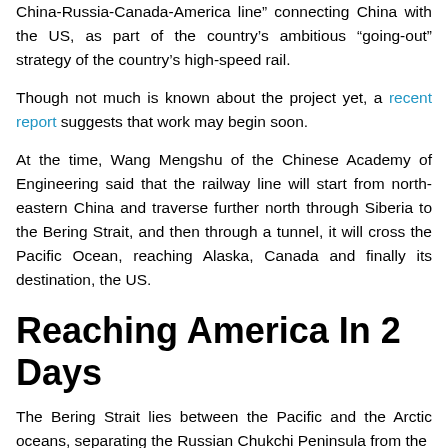China-Russia-Canada-America line" connecting China with the US, as part of the country's ambitious "going-out" strategy of the country's high-speed rail.
Though not much is known about the project yet, a recent report suggests that work may begin soon.
At the time, Wang Mengshu of the Chinese Academy of Engineering said that the railway line will start from north-eastern China and traverse further north through Siberia to the Bering Strait, and then through a tunnel, it will cross the Pacific Ocean, reaching Alaska, Canada and finally its destination, the US.
Reaching America In 2 Days
The Bering Strait lies between the Pacific and the Arctic oceans, separating the Russian Chukchi Peninsula from the